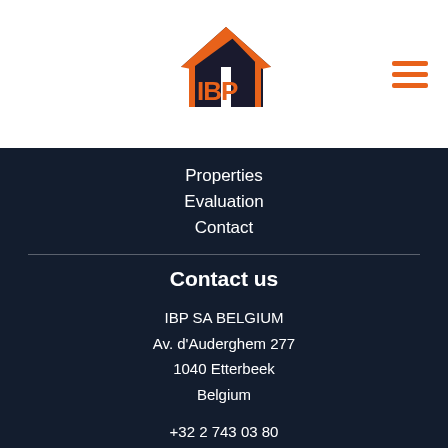[Figure (logo): IBP logo — orange house/building shape with IBP letters in orange and dark, 3D style]
[Figure (other): Hamburger menu icon — three orange horizontal lines stacked]
Properties
Evaluation
Contact
Contact us
IBP SA BELGIUM
Av. d'Auderghem 277
1040 Etterbeek
Belgium
+32 2 743 03 80
info@ibp.be